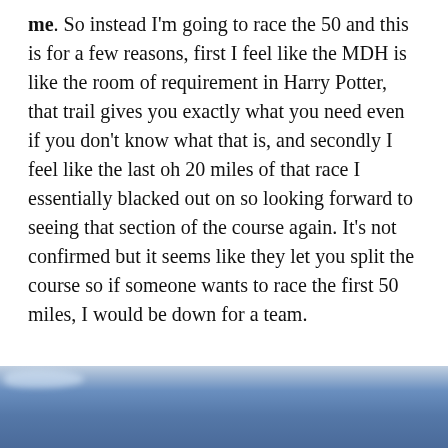me. So instead I'm going to race the 50 and this is for a few reasons, first I feel like the MDH is like the room of requirement in Harry Potter, that trail gives you exactly what you need even if you don't know what that is, and secondly I feel like the last oh 20 miles of that race I essentially blacked out on so looking forward to seeing that section of the course again. It's not confirmed but it seems like they let you split the course so if someone wants to race the first 50 miles, I would be down for a team.
[Figure (photo): Blue sky or water photograph strip at the bottom of the page, showing a gradient of blue tones with a slight highlight near the top-left.]